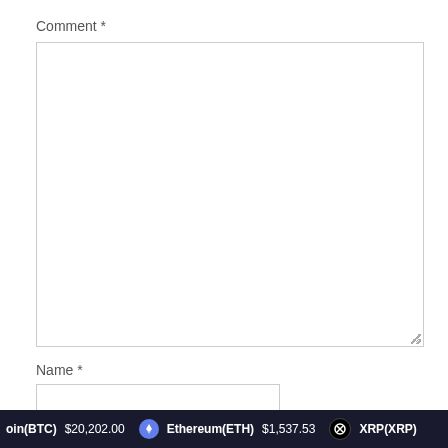Comment *
[Figure (screenshot): Empty comment textarea input field with resize handle in bottom-right corner]
Name *
[Figure (screenshot): Empty name text input field]
Email *
oin(BTC) $20,202.00   Ethereum(ETH) $1,537.53   XRP(XRP)